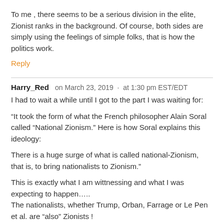To me , there seems to be a serious division in the elite, Zionist ranks in the background. Of course, both sides are simply using the feelings of simple folks, that is how the politics work.
Reply
Harry_Red   on March 23, 2019  ·  at 1:30 pm EST/EDT
I had to wait a while until I got to the part I was waiting for:
“It took the form of what the French philosopher Alain Soral called “National Zionism.” Here is how Soral explains this ideology:
There is a huge surge of what is called national-Zionism, that is, to bring nationalists to Zionism.”
This is exactly what I am wittnessing and what I was expecting to happen…..
The nationalists, whether Trump, Orban, Farrage or Le Pen et al. are “also” Zionists !
The West has become Anti-Religious Godless Zionism no matter which way the wind blows.